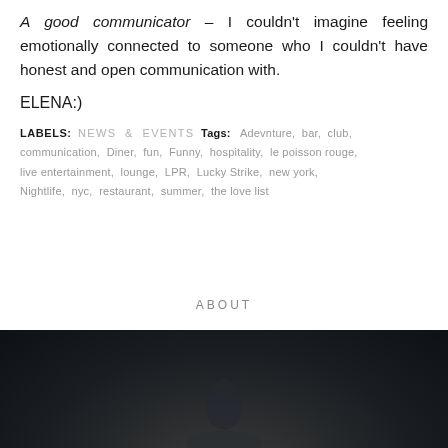A good communicator – I couldn't imagine feeling emotionally connected to someone who I couldn't have honest and open communication with.
ELENA:)
LABELS: NEWS & EVENTS Tags: Adevnture, bar, club, communication, Diner, fun, Funny, hospitality, le poisson rouge, live entertainment, lounge, LPR, Lucky Strike, new york, Nightlife, nyc, restaurant, summer, the love list
ABOUT
[Figure (photo): Dark background with faint silhouette, appears to be a person in a dark portrait-style photo]